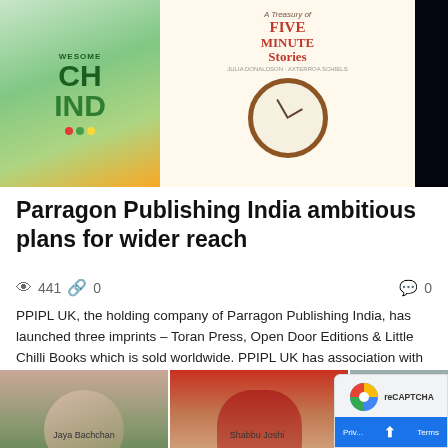[Figure (photo): Three book covers: a colorful children's book, Five Minute Stories with a clock image, and a brain puzzles book with dark background]
Parragon Publishing India ambitious plans for wider reach
441  0  0
PPIPL UK, the holding company of Parragon Publishing India, has launched three imprints – Toran Press, Open Door Editions & Little Chilli Books which is sold worldwide. PPIPL UK has association with publishers in Europe to publish in...
[Figure (photo): Three portrait photos of people: a woman in green (Jaya Bachchan), a man in red, and a bearded man]
Jaya Bachchan  Shabbu Joshi  Shobhan Moihat